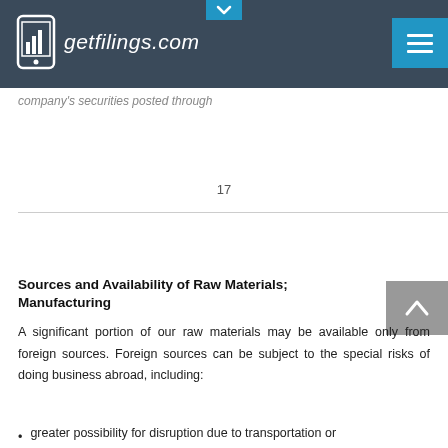getfilings.com
company's securities posted through
17
Sources and Availability of Raw Materials; Manufacturing
A significant portion of our raw materials may be available only from foreign sources. Foreign sources can be subject to the special risks of doing business abroad, including:
greater possibility for disruption due to transportation or